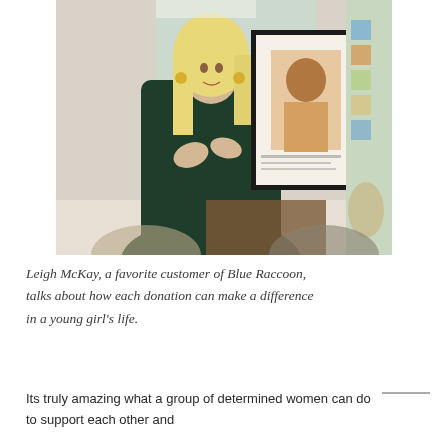[Figure (photo): A woman with long blonde hair wearing a dark green dress speaks animatedly, holding her hands to her chest. Behind her is a framed display board with a photo of a young girl. The setting appears to be an indoor event. Audience members are visible in the foreground.]
Leigh McKay, a favorite customer of Blue Raccoon, talks about how each donation can make a difference in a young girl's life.
Its truly amazing what a group of determined women can do to support each other and